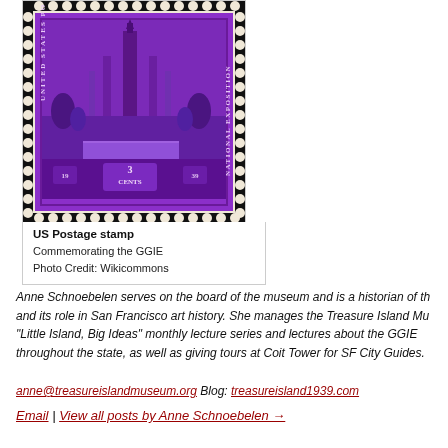[Figure (photo): A purple US postage stamp commemorating the Golden Gate International Exposition (GGIE), showing a tall tower with 3 cents denomination and year 1939.]
US Postage stamp
Commemorating the GGIE
Photo Credit: Wikicommons
Anne Schnoebelen serves on the board of the museum and is a historian of the and its role in San Francisco art history. She manages the Treasure Island Mus "Little Island, Big Ideas" monthly lecture series and lectures about the GGIE throughout the state, as well as giving tours at Coit Tower for SF City Guides.
anne@treasureislandmuseum.org Blog: treasureisland1939.com
Email | View all posts by Anne Schnoebelen →